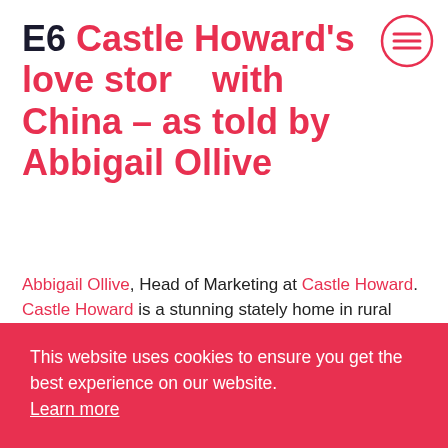E6 Castle Howard's love story with China – as told by Abbigail Ollive
Abbigail Ollive, Head of Marketing at Castle Howard. Castle Howard is a stunning stately home in rural North Yorkshire, designed by Sir John … isle. … or … a
This website uses cookies to ensure you get the best experience on our website. Learn more
OK